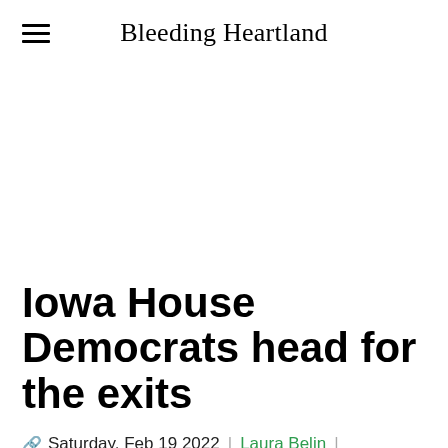Bleeding Heartland
Iowa House Democrats head for the exits
Saturday, Feb 19 2022 | Laura Belin |